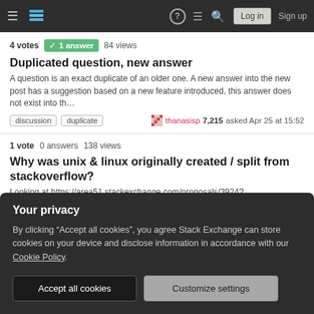Stack Exchange navigation bar with Log in and Sign up buttons
4 votes  1 answer  84 views
Duplicated question, new answer
A question is an exact duplicate of an older one. A new answer into the new post has a suggestion based on a new feature introduced, this answer does not exist into th...
discussion  duplicate  thanasisp 7,215 asked Apr 25 at 15:52
1 vote  0 answers  138 views
Why was unix & linux originally created / split from stackoverflow?
Looking at https://area51.stackexchange.com/proposals/3924?phase=definition I can see who proposed it and a few other details but I cannot find the original proposal. I...
Your privacy
By clicking “Accept all cookies”, you agree Stack Exchange can store cookies on your device and disclose information in accordance with our Cookie Policy.
Accept all cookies
Customize settings